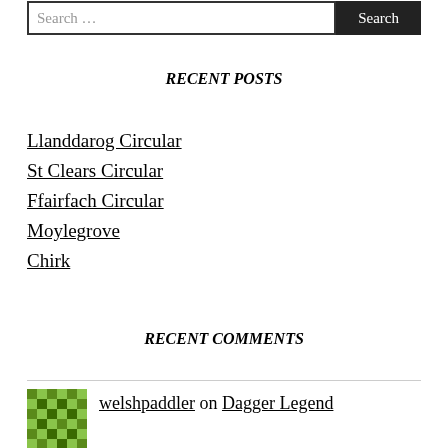RECENT POSTS
Llanddarog Circular
St Clears Circular
Ffairfach Circular
Moylegrove
Chirk
RECENT COMMENTS
welshpaddler on Dagger Legend